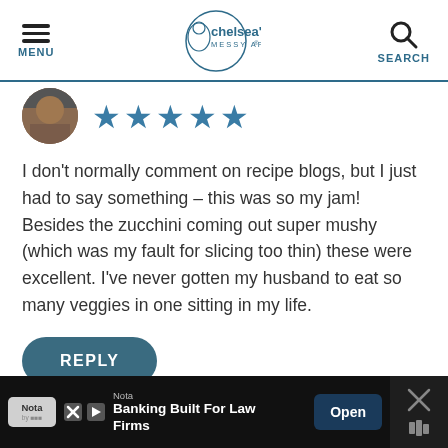MENU | chelsea's MESSY APRON® | SEARCH
[Figure (photo): Circular avatar photo of reviewer, partially cropped at top]
[Figure (other): 5 blue filled star rating icons]
I don't normally comment on recipe blogs, but I just had to say something – this was so my jam! Besides the zucchini coming out super mushy (which was my fault for slicing too thin) these were excellent. I've never gotten my husband to eat so many veggies in one sitting in my life.
REPLY
Nota
Banking Built For Law Firms
Open